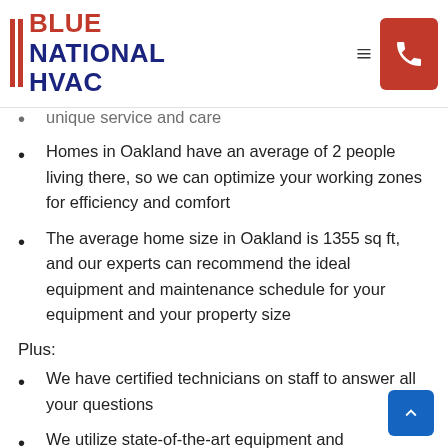BLUE NATIONAL HVAC
unique service and care
Homes in Oakland have an average of 2 people living there, so we can optimize your working zones for efficiency and comfort
The average home size in Oakland is 1355 sq ft, and our experts can recommend the ideal equipment and maintenance schedule for your equipment and your property size
Plus:
We have certified technicians on staff to answer all your questions
We utilize state-of-the-art equipment and